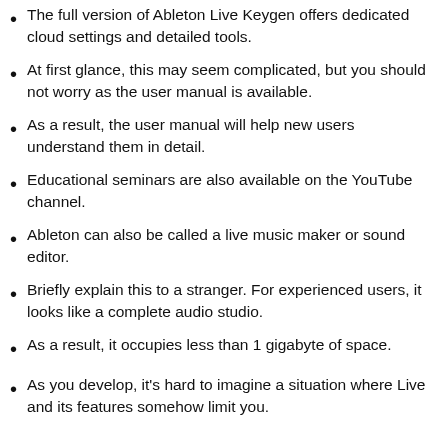The full version of Ableton Live Keygen offers dedicated cloud settings and detailed tools.
At first glance, this may seem complicated, but you should not worry as the user manual is available.
As a result, the user manual will help new users understand them in detail.
Educational seminars are also available on the YouTube channel.
Ableton can also be called a live music maker or sound editor.
Briefly explain this to a stranger. For experienced users, it looks like a complete audio studio.
As a result, it occupies less than 1 gigabyte of space.
As you develop, it's hard to imagine a situation where Live and its features somehow limit you.